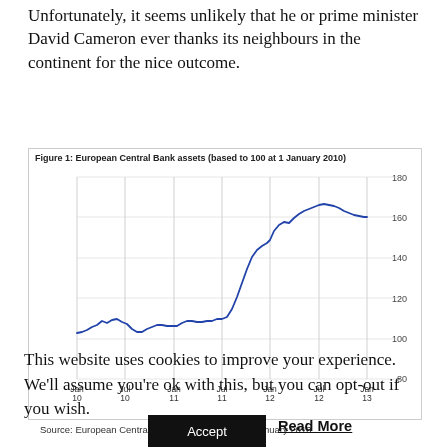Unfortunately, it seems unlikely that he or prime minister David Cameron ever thanks its neighbours in the continent for the nice outcome.
[Figure (line-chart): Figure 1: European Central Bank assets (based to 100 at 1 January 2010)]
Source: European Central Bank, Invesco, as at 25 January 2013
This website uses cookies to improve your experience. We'll assume you're ok with this, but you can opt-out if you wish.